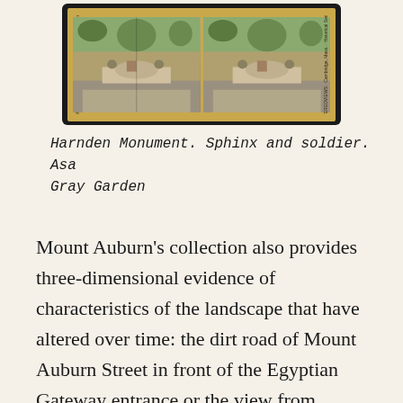[Figure (photo): A stereoscopic card photograph with a yellow border and black outer frame showing two side-by-side sepia images of a garden scene with people, sphinx, and trees. Text printed vertically on the yellow borders on each side.]
Harnden Monument. Sphinx and soldier. Asa Gray Garden
Mount Auburn's collection also provides three-dimensional evidence of characteristics of the landscape that have altered over time: the dirt road of Mount Auburn Street in front of the Egyptian Gateway entrance or the view from Washington Tower that shows the